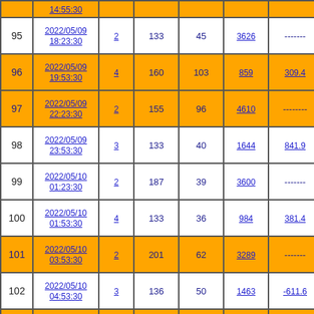| # | Date/Time | Col3 | Col4 | Col5 | Col6 | Col7 |
| --- | --- | --- | --- | --- | --- | --- |
|  | 14:55:30 |  |  |  |  |  |
| 95 | 2022/05/09 18:23:30 | 2 | 133 | 45 | 3626 | ------- |
| 96 | 2022/05/09 19:53:30 | 4 | 160 | 103 | 859 | 309.4 |
| 97 | 2022/05/09 22:23:30 | 2 | 155 | 96 | 4610 | ------- |
| 98 | 2022/05/09 23:53:30 | 3 | 133 | 40 | 1644 | 841.9 |
| 99 | 2022/05/10 01:23:30 | 2 | 187 | 39 | 3600 | ------- |
| 100 | 2022/05/10 01:53:30 | 4 | 133 | 36 | 984 | 381.4 |
| 101 | 2022/05/10 03:53:30 | 2 | 201 | 62 | 3289 | ------- |
| 102 | 2022/05/10 04:53:30 | 3 | 136 | 50 | 1463 | -611.6 |
| 103 | 2022/05/10 07:23:30 | 3 | 165 | 84 | 1463 | -568.4 |